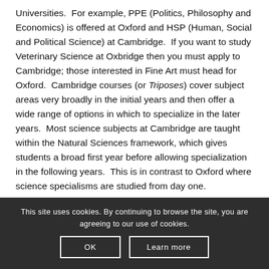Universities.  For example, PPE (Politics, Philosophy and Economics) is offered at Oxford and HSP (Human, Social and Political Science) at Cambridge.  If you want to study Veterinary Science at Oxbridge then you must apply to Cambridge; those interested in Fine Art must head for Oxford.  Cambridge courses (or Triposes) cover subject areas very broadly in the initial years and then offer a wide range of options in which to specialize in the later years.  Most science subjects at Cambridge are taught within the Natural Sciences framework, which gives students a broad first year before allowing specialization in the following years.  This is in contrast to Oxford where science specialisms are studied from day one.
This site uses cookies. By continuing to browse the site, you are agreeing to our use of cookies.